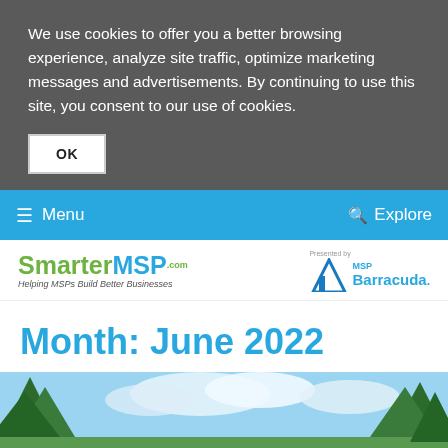We use cookies to offer you a better browsing experience, analyze site traffic, optimize marketing messages and advertisements. By continuing to use this site, you consent to our use of cookies.
OK
≡ Menu   🔍 Explore
[Figure (logo): SmarterMSP.com logo with tagline 'Helping MSPs Build Better Businesses']
[Figure (logo): Presented by MSP Barracuda logo]
Month: June 2022
[Figure (photo): Partial photo of trees against a cloudy sky]